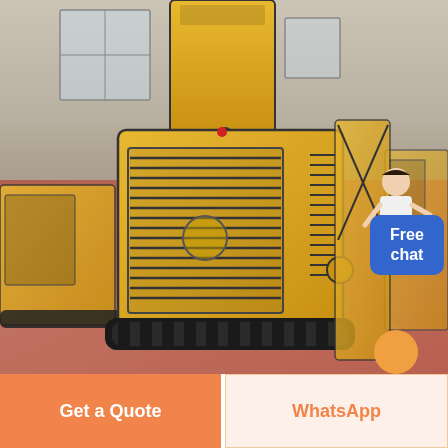[Figure (photo): Yellow tracked mini skid steer loader / construction machine photographed inside an industrial warehouse with red-painted concrete floor. The machine has a louvered grille panel on the front, rubber tracks, and a raised arm/boom at the top. Other similar yellow machines are visible in the background on the left and right. A person in a white shirt is partially visible on the right side with a blue 'Free chat' button overlay. An orange circular chat icon is visible at the bottom right of the image.]
Free chat
Get a Quote
WhatsApp